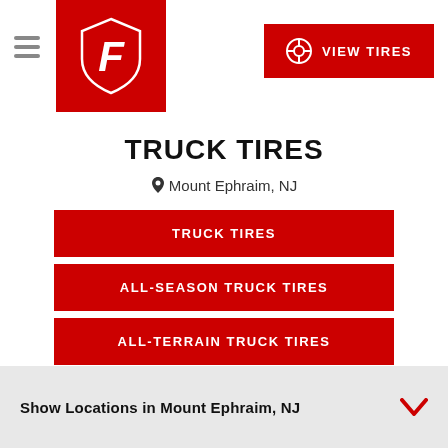Firestone Truck Tires – VIEW TIRES
TRUCK TIRES
Mount Ephraim, NJ
TRUCK TIRES
ALL-SEASON TRUCK TIRES
ALL-TERRAIN TRUCK TIRES
MUD TRUCK TIRES
WINTER TRUCK TIRES
Show Locations in Mount Ephraim, NJ